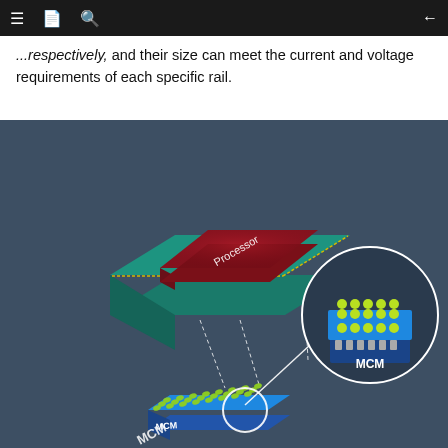...respectively, and their size can meet the current and voltage requirements of each specific rail.
[Figure (engineering-diagram): Isometric diagram showing a processor chip (labeled 'Processor') mounted on a green substrate with dashed connector lines leading down to an MCM (Multi-Chip Module) component. The MCM is shown as a blue block with a green dot array on top (solder balls/bumps), with a zoomed-in circular callout revealing the MCM label and ball grid array detail.]